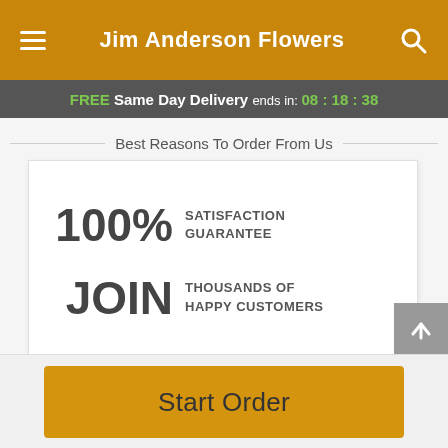Jim Anderson Flowers
FREE Same Day Delivery ends in: 08 : 18 : 38
Best Reasons To Order From Us
100% SATISFACTION GUARANTEE
JOIN THOUSANDS OF HAPPY CUSTOMERS
100% FLORIST DESIGNED AND HAND DELIVERED
Start Order